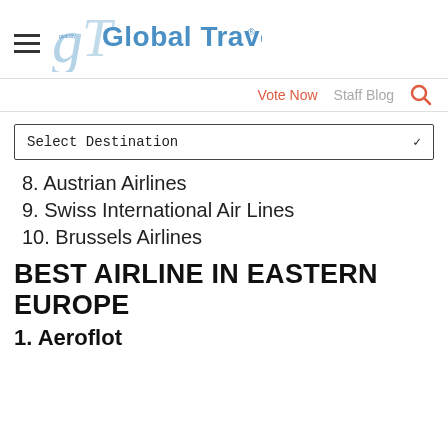Global Traveler
Vote Now  Staff Blog
8. Austrian Airlines
9. Swiss International Air Lines
10. Brussels Airlines
BEST AIRLINE IN EASTERN EUROPE
1. Aeroflot